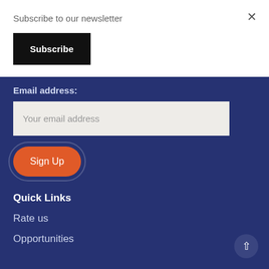Subscribe to our newsletter
Subscribe
×
Email address:
Your email address
Sign Up
Quick Links
Rate us
Opportunities